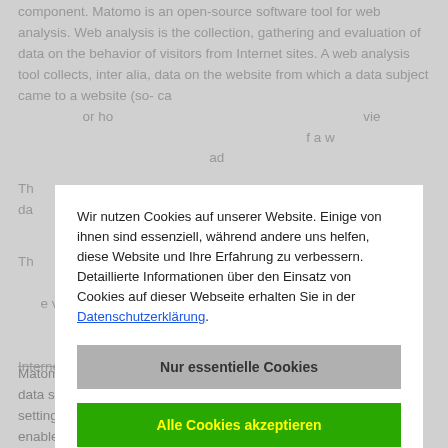component. Matomo is an open-source software tool for web analysis. Web analysis is the collection, gathering and evaluation of data on the behavior of visitors from Internet sites. A web analysis tool collects, inter alia, data on the website from which a data subject came to a website (so-called referrers), which sub-pages were accessed, or how often and for how long a sub-page was viewed. A web analysis is mainly used for the optimization of a website and in order to carry out a cost-benefit analysis of Internet advertising.
[Figure (screenshot): Cookie consent modal overlay with German text. Title area contains message about cookies. Two buttons: 'Nur essentielle Cookies' (gray) and 'Alle Cookies akzeptieren' (green with yellow text). Link to Datenschutzerklärung.]
Matomo sets a cookie on the information technology system of the data subject. The definition of cookies is explained above. With the setting of the cookie, an analysis of the use of our website is enabled. With each call-up to one of the